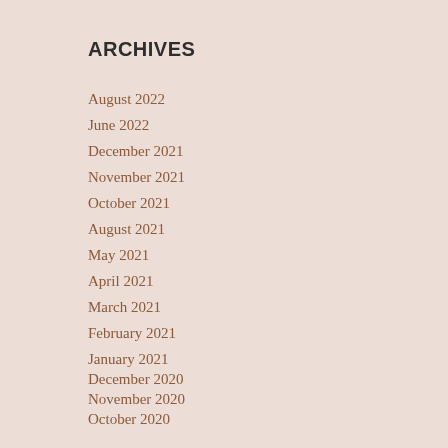ARCHIVES
August 2022
June 2022
December 2021
November 2021
October 2021
August 2021
May 2021
April 2021
March 2021
February 2021
January 2021
December 2020
November 2020
October 2020
September 2020
August 2020
July 2020